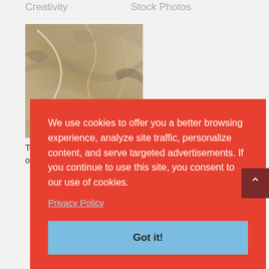Creativity
Stock Photos
[Figure (photo): Close-up photo of rock or stone texture with rough, weathered surface in brown and beige tones]
Textures of the Life of Jesus
We use cookies to offer you a better browsing experience, analyze site traffic, personalize content, and serve targeted advertisements. If you continue to use this site, you consent to our use of cookies.
Privacy Policy
Got it!